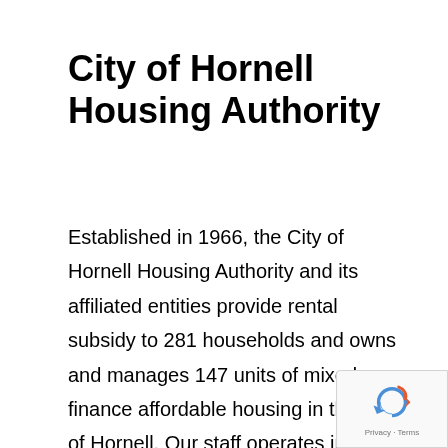City of Hornell Housing Authority
Established in 1966, the City of Hornell Housing Authority and its affiliated entities provide rental subsidy to 281 households and owns and manages 147 units of mixed finance affordable housing in the City of Hornell. Our staff operates in an efficient, ethical, and professional manner supporting those in need move toward economic self-sufficiency. We hope you find our